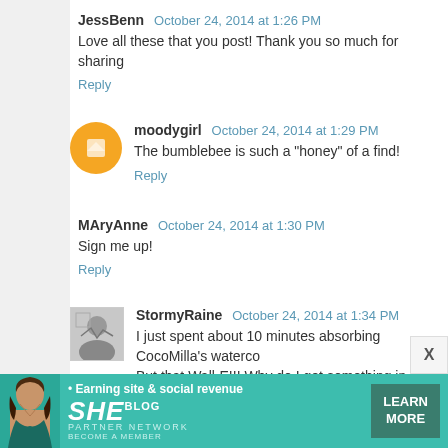JessBenn October 24, 2014 at 1:26 PM
Love all these that you post! Thank you so much for sharing
Reply
moodygirl October 24, 2014 at 1:29 PM
The bumblebee is such a "honey" of a find!
Reply
MAryAnne October 24, 2014 at 1:30 PM
Sign me up!
Reply
StormyRaine October 24, 2014 at 1:34 PM
I just spent about 10 minutes absorbing CocoMilla's waterc... But that Wall-E!!! Why do I get something in my eye everytim
Reply
[Figure (infographic): Advertisement banner for SHE Partner Network - teal/green background with woman photo, text 'Earning site & social revenue', SHE logo, PARTNER NETWORK, BECOME A MEMBER, and LEARN MORE button]